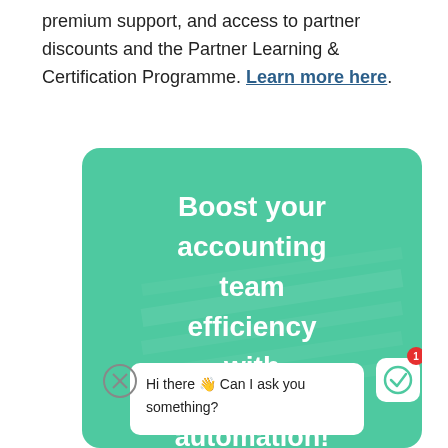premium support, and access to partner discounts and the Partner Learning & Certification Programme. Learn more here.
[Figure (illustration): Green rounded card with bold white text reading 'Boost your accounting team efficiency with powerful automation!' and a chat bubble overlay saying 'Hi there 👋 Can I ask you something?' with a close button, and a chat icon button with a red badge showing '1'.]